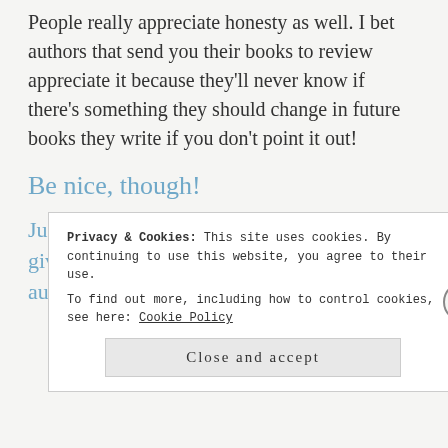People really appreciate honesty as well. I bet authors that send you their books to review appreciate it because they'll never know if there's something they should change in future books they write if you don't point it out!
Be nice, though!
Just because you don't like a book doesn't give you the right to trash the book (or the author!)
Privacy & Cookies: This site uses cookies. By continuing to use this website, you agree to their use. To find out more, including how to control cookies, see here: Cookie Policy
Close and accept